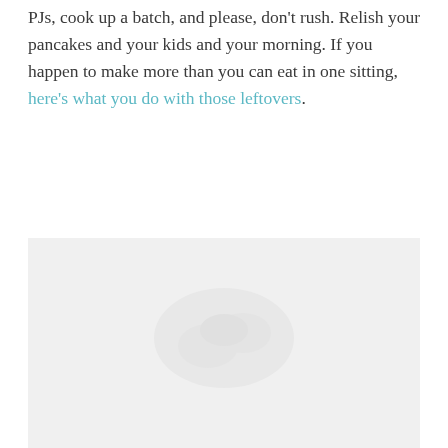PJs, cook up a batch, and please, don't rush. Relish your pancakes and your kids and your morning. If you happen to make more than you can eat in one sitting, here's what you do with those leftovers.
[Figure (photo): A faded/light photograph placeholder area with a very light gray background, possibly showing pancakes or a food scene. The image content is largely washed out.]